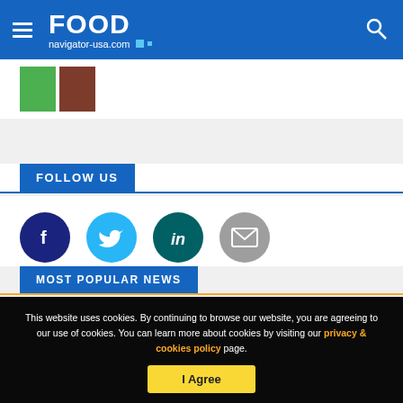FOOD navigator-usa.com
[Figure (photo): Partial image thumbnail visible at top of page]
FOLLOW US
[Figure (infographic): Social media icons: Facebook (dark blue circle), Twitter (light blue circle), LinkedIn (teal circle), Email (gray circle)]
MOST POPULAR NEWS
This website uses cookies. By continuing to browse our website, you are agreeing to our use of cookies. You can learn more about cookies by visiting our privacy & cookies policy page.
I Agree